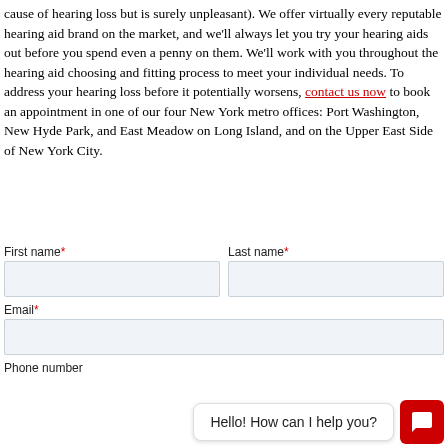cause of hearing loss but is surely unpleasant). We offer virtually every reputable hearing aid brand on the market, and we'll always let you try your hearing aids out before you spend even a penny on them. We'll work with you throughout the hearing aid choosing and fitting process to meet your individual needs. To address your hearing loss before it potentially worsens, contact us now to book an appointment in one of our four New York metro offices: Port Washington, New Hyde Park, and East Meadow on Long Island, and on the Upper East Side of New York City.
First name*
Last name*
Email*
Phone number
Hello! How can I help you?